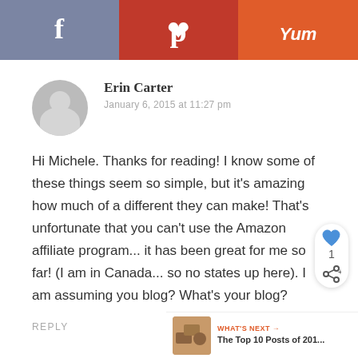[Figure (infographic): Social sharing bar with three buttons: Facebook (blue-grey), Pinterest (red), Yummly (orange)]
Erin Carter
January 6, 2015 at 11:27 pm
Hi Michele. Thanks for reading! I know some of these things seem so simple, but it's amazing how much of a different they can make! That's unfortunate that you can't use the Amazon affiliate program... it has been great for me so far! (I am in Canada... so no states up here). I am assuming you blog? What's your blog?
REPLY